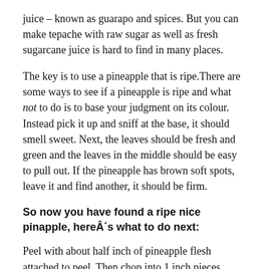juice – known as guarapo and spices. But you can make tepache with raw sugar as well as fresh sugarcane juice is hard to find in many places.
The key is to use a pineapple that is ripe.There are some ways to see if a pineapple is ripe and what not to do is to base your judgment on its colour. Instead pick it up and sniff at the base, it should smell sweet. Next, the leaves should be fresh and green and the leaves in the middle should be easy to pull out. If the pineapple has brown soft spots, leave it and find another, it should be firm.
So now you have found a ripe nice pinapple, hereÂ´s what to do next:
Peel with about half inch of pineapple flesh attached to peel. Then chop into 1 inch pieces.